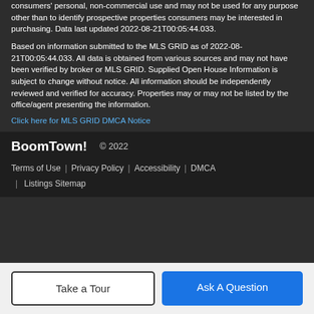consumers' personal, non-commercial use and may not be used for any purpose other than to identify prospective properties consumers may be interested in purchasing. Data last updated 2022-08-21T00:05:44.033.
Based on information submitted to the MLS GRID as of 2022-08-21T00:05:44.033. All data is obtained from various sources and may not have been verified by broker or MLS GRID. Supplied Open House Information is subject to change without notice. All information should be independently reviewed and verified for accuracy. Properties may or may not be listed by the office/agent presenting the information.
Click here for MLS GRID DMCA Notice
BoomTown! © 2022
Terms of Use | Privacy Policy | Accessibility | DMCA | Listings Sitemap
Take a Tour
Ask A Question